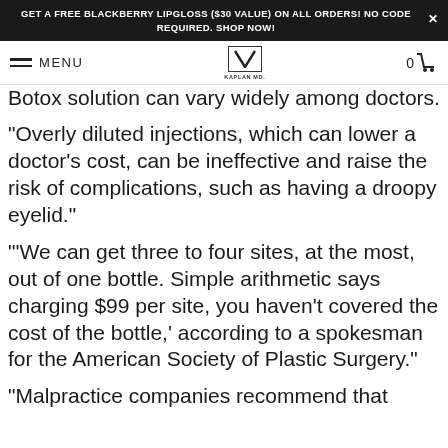GET A FREE BLACKBERRY LIPGLOSS ($30 VALUE) ON ALL ORDERS! NO CODE REQUIRED. SHOP NOW!
MENU | KAPLAN MD | 0
Botox solution can vary widely among doctors.
"Overly diluted injections, which can lower a doctor's cost, can be ineffective and raise the risk of complications, such as having a droopy eyelid."
"'We can get three to four sites, at the most, out of one bottle. Simple arithmetic says charging $99 per site, you haven't covered the cost of the bottle,' according to a spokesman for the American Society of Plastic Surgery."
"Malpractice companies recommend that Botox